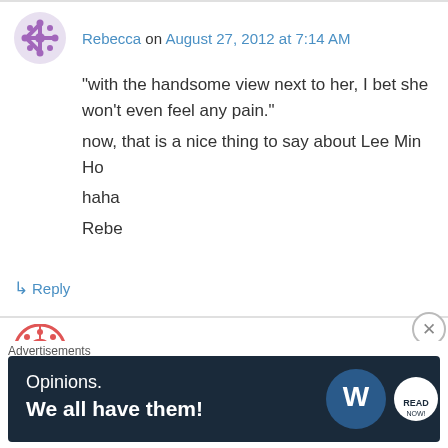Rebecca on August 27, 2012 at 7:14 AM
“with the handsome view next to her, I bet she won’t even feel any pain.”
now, that is a nice thing to say about Lee Min Ho
haha
Rebe
↳ Reply
meltedd on August 27, 2012 at 7:27 AM
tonight’s ep was so difficult to understand. but
this recap came up so quickly! thanks softy. and
Advertisements
[Figure (other): Advertisement banner: dark navy background with text 'Opinions. We all have them!' and WordPress and another logo on the right.]